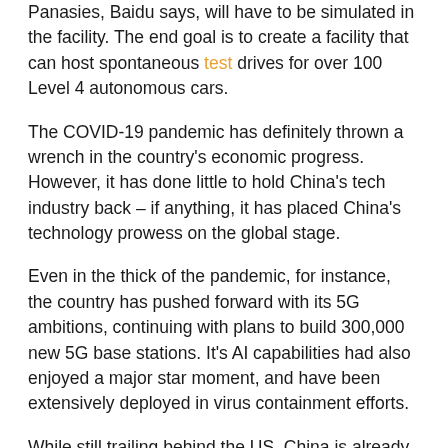Panasies, Baidu says, will have to be simulated in the facility. The end goal is to create a facility that can host spontaneous test drives for over 100 Level 4 autonomous cars.
The COVID-19 pandemic has definitely thrown a wrench in the country's economic progress. However, it has done little to hold China's tech industry back – if anything, it has placed China's technology prowess on the global stage.
Even in the thick of the pandemic, for instance, the country has pushed forward with its 5G ambitions, continuing with plans to build 300,000 new 5G base stations. It's AI capabilities had also enjoyed a major star moment, and have been extensively deployed in virus containment efforts.
While still trailing behind the US, China is already proving to be a worthy competitor in the realm of